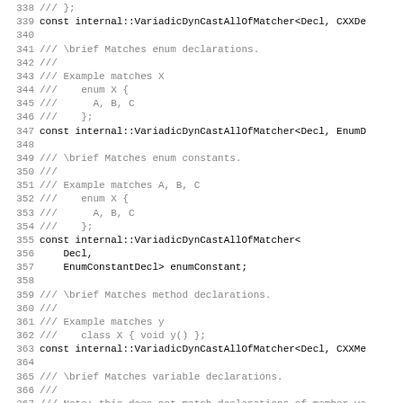Source code listing lines 338-370 showing C++ matcher declarations with doxygen comments